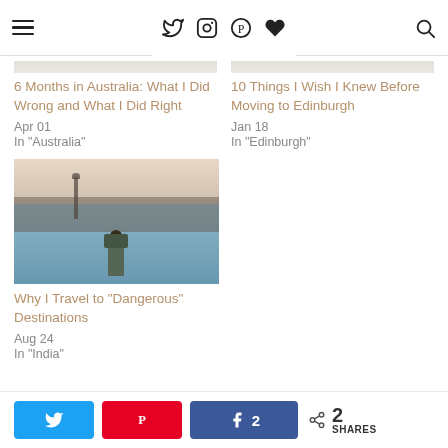Navigation bar with hamburger menu, Twitter, Instagram, Pinterest, heart icons, and search icon
6 Months in Australia: What I Did Wrong and What I Did Right
Apr 01
In "Australia"
10 Things I Wish I Knew Before Moving to Edinburgh
Jan 18
In "Edinburgh"
[Figure (photo): Person viewed from behind looking out over a city and water, Istanbul style scene]
Why I Travel to “Dangerous” Destinations
Aug 24
In "India"
Share buttons: Twitter, Pinterest, Facebook (2 shares), total 2 SHARES